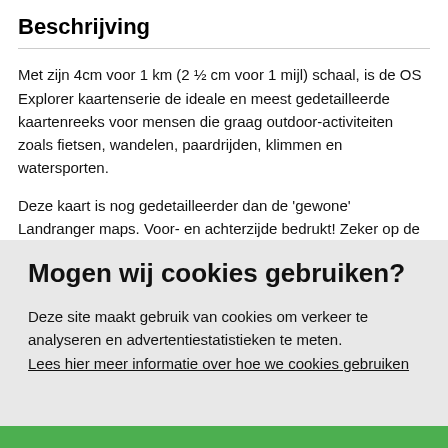Beschrijving
Met zijn 4cm voor 1 km (2 ½ cm voor 1 mijl) schaal, is de OS Explorer kaartenserie de ideale en meest gedetailleerde kaartenreeks voor mensen die graag outdoor-activiteiten zoals fietsen, wandelen, paardrijden, klimmen en watersporten.
Deze kaart is nog gedetailleerder dan de 'gewone' Landranger maps. Voor- en achterzijde bedrukt! Zeker op de moors en andere natuurgebieden van onschatbare waarden met echt alle aspecten van het landschap op de kaart ingetekend. Zeer
Mogen wij cookies gebruiken?
Deze site maakt gebruik van cookies om verkeer te analyseren en advertentiestatistieken te meten. Lees hier meer informatie over hoe we cookies gebruiken